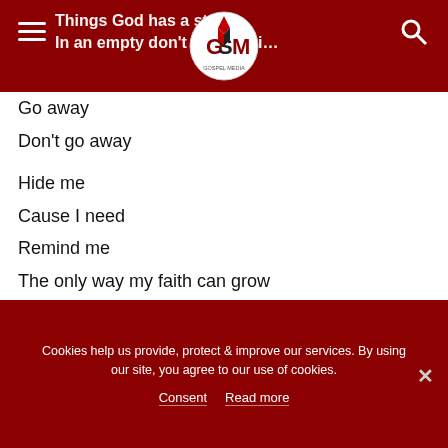Things God has a stor… / In an empty don't let the rain…
Go away
Don't go away
Hide me
Cause I need
Remind me
The only way my faith can grow
Is when You let Your winds blow
You're making me stronger now
You're making me stronger now
You're making me stronger now
Cookies help us provide, protect & improve our services. By using our site, you agree to our use of cookies.
Consent   Read more